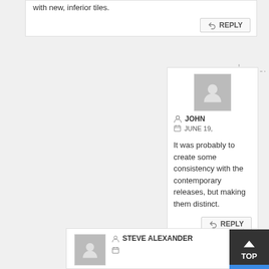with new, inferior tiles.
REPLY
[Figure (illustration): User avatar placeholder for JOHN - grey silhouette on grey background]
JOHN
JUNE 19,
It was probably to create some consistency with the contemporary releases, but making them distinct.
REPLY
[Figure (illustration): User avatar placeholder for STEVE ALEXANDER - grey silhouette]
STEVE ALEXANDER
TOP